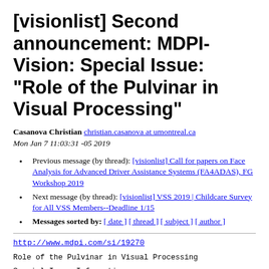[visionlist] Second announcement: MDPI-Vision: Special Issue: "Role of the Pulvinar in Visual Processing"
Casanova Christian christian.casanova at umontreal.ca
Mon Jan 7 11:03:31 -05 2019
Previous message (by thread): [visionlist] Call for papers on Face Analysis for Advanced Driver Assistance Systems (FA4ADAS), FG Workshop 2019
Next message (by thread): [visionlist] VSS 2019 | Childcare Survey for All VSS Members--Deadline 1/15
Messages sorted by: [ date ] [ thread ] [ subject ] [ author ]
http://www.mdpi.com/si/19270
Role of the Pulvinar in Visual Processing
Special Issue Information: